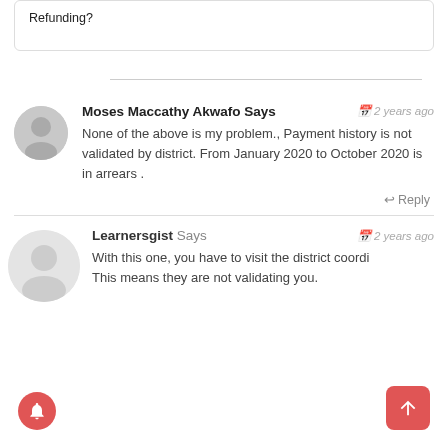Refunding?
Moses Maccathy Akwafo Says  2 years ago
None of the above is my problem., Payment history is not validated by district. From January 2020 to October 2020 is in arrears .
Reply
Learnersgist Says  2 years ago
With this one, you have to visit the district coordi... This means they are not validating you.